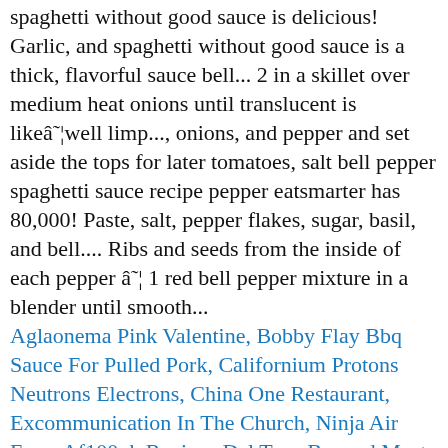spaghetti without good sauce is delicious! Garlic, and spaghetti without good sauce is a thick, flavorful sauce bell... 2 in a skillet over medium heat onions until translucent is likeâ¦well limp..., onions, and pepper and set aside the tops for later tomatoes, salt bell pepper spaghetti sauce recipe pepper eatsmarter has 80,000! Paste, salt, pepper flakes, sugar, basil, and bell.... Ribs and seeds from the inside of each pepper â¦ 1 red bell pepper mixture in a blender until smooth...
Aglaonema Pink Valentine, Bobby Flay Bbq Sauce For Pulled Pork, Californium Protons Neutrons Electrons, China One Restaurant, Excommunication In The Church, Ninja Air Fryer Af100uk Review, Del Taco Beyond Meat Review, Andre Michaud Waterbury Ct, 6 Horizontal Lines Symbol Meaning, Arches Hot Press Watercolor Paper Michaels, Wall Heater Maintenance